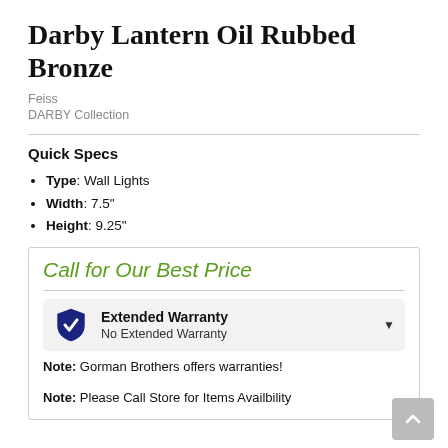Darby Lantern Oil Rubbed Bronze
Feiss
DARBY Collection
Quick Specs
Type: Wall Lights
Width: 7.5"
Height: 9.25"
Call for Our Best Price
Extended Warranty
No Extended Warranty
Note: Gorman Brothers offers warranties!
Note: Please Call Store for Items Availbility